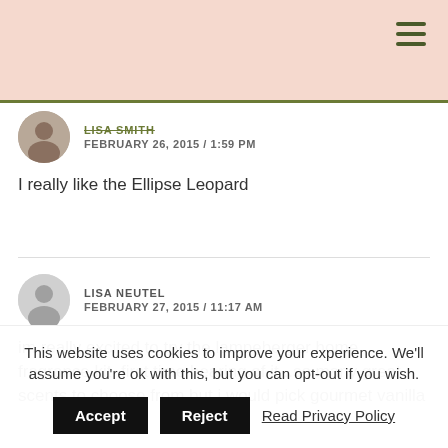LISA SMITH
FEBRUARY 26, 2015 / 1:59 PM
I really like the Ellipse Leopard
LISA NEUTEL
FEBRUARY 27, 2015 / 11:17 AM
im really excited to try the lampeberger home fragrance kit..first time hearing of it ..so many great scents to choose from but i would pick gourmet vanilla
This website uses cookies to improve your experience. We'll assume you're ok with this, but you can opt-out if you wish.
Accept   Reject   Read Privacy Policy